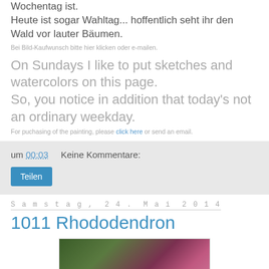Wochentag ist.
Heute ist sogar Wahltag... hoffentlich seht ihr den Wald vor lauter Bäumen.
Bei Bild-Kaufwunsch bitte hier klicken oder e-mailen.
On Sundays I like to put sketches and watercolors on this page.
So, you notice in addition that today's not an ordinary weekday.
For puchasing of the painting, please click here or send an email.
um 00:03    Keine Kommentare:
Teilen
Samstag, 24. Mai 2014
1011 Rhododendron
[Figure (photo): Painting of rhododendron flowers with pink blooms and dark green leaves]